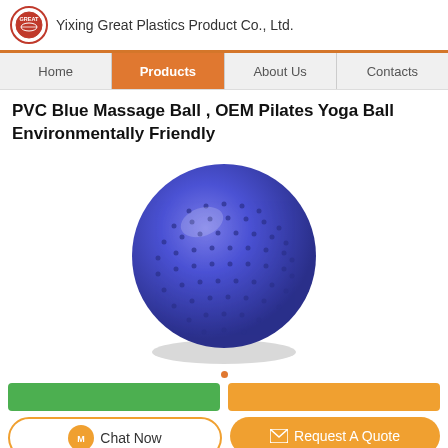Yixing Great Plastics Product Co., Ltd.
Home | Products | About Us | Contacts
PVC Blue Massage Ball , OEM Pilates Yoga Ball Environmentally Friendly
[Figure (photo): Blue PVC massage/pilates yoga ball with textured studded surface on white background]
Chat Now | Request A Quote